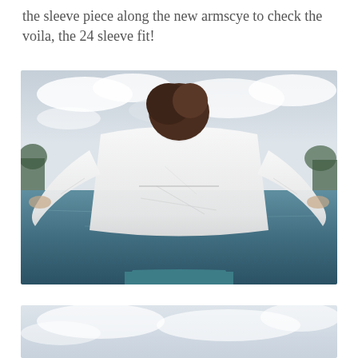the sleeve piece along the new armscye to check the voila, the 24 sleeve fit!
[Figure (photo): Back view of a person wearing a white linen jacket/blouse with wide sleeves spread out, standing outdoors near a lake with cloudy sky. The person has dark curly hair and is wearing a teal/blue skirt.]
[Figure (photo): Partially visible second photo, showing mostly sky and clouds, appears to be another outdoor shot similar to the first.]